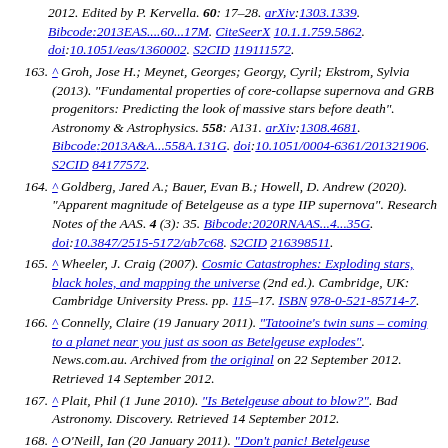[continuation] 2012. Edited by P. Kervella. 60: 17–28. arXiv:1303.1339. Bibcode:2013EAS....60...17M. CiteSeerX 10.1.1.759.5862. doi:10.1051/eas/1360002. S2CID 119111572.
163. ^ Groh, Jose H.; Meynet, Georges; Georgy, Cyril; Ekstrom, Sylvia (2013). "Fundamental properties of core-collapse supernova and GRB progenitors: Predicting the look of massive stars before death". Astronomy & Astrophysics. 558: A131. arXiv:1308.4681. Bibcode:2013A&A...558A.131G. doi:10.1051/0004-6361/201321906. S2CID 84177572.
164. ^ Goldberg, Jared A.; Bauer, Evan B.; Howell, D. Andrew (2020). "Apparent magnitude of Betelgeuse as a type IIP supernova". Research Notes of the AAS. 4 (3): 35. Bibcode:2020RNAAS...4...35G. doi:10.3847/2515-5172/ab7c68. S2CID 216398511.
165. ^ Wheeler, J. Craig (2007). Cosmic Catastrophes: Exploding stars, black holes, and mapping the universe (2nd ed.). Cambridge, UK: Cambridge University Press. pp. 115–17. ISBN 978-0-521-85714-7.
166. ^ Connelly, Claire (19 January 2011). "Tatooine's twin suns – coming to a planet near you just as soon as Betelgeuse explodes". News.com.au. Archived from the original on 22 September 2012. Retrieved 14 September 2012.
167. ^ Plait, Phil (1 June 2010). "Is Betelgeuse about to blow?". Bad Astronomy. Discovery. Retrieved 14 September 2012.
168. ^ O'Neill, Ian (20 January 2011). "Don't panic! Betelgeuse...